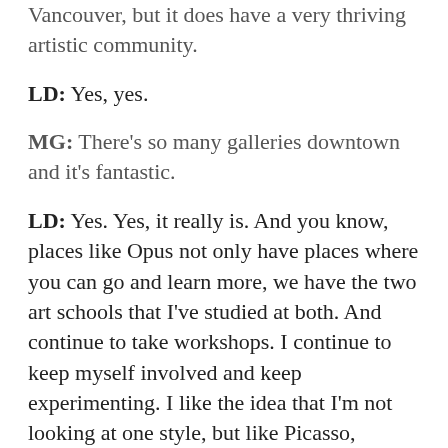Vancouver, but it does have a very thriving artistic community.
LD: Yes, yes.
MG: There's so many galleries downtown and it's fantastic.
LD: Yes. Yes, it really is. And you know, places like Opus not only have places where you can go and learn more, we have the two art schools that I've studied at both. And continue to take workshops. I continue to keep myself involved and keep experimenting. I like the idea that I'm not looking at one style, but like Picasso, continually changing that. I'm an explorer. So that's what I like about art here, too.
MG: We were talking about this earlier, before